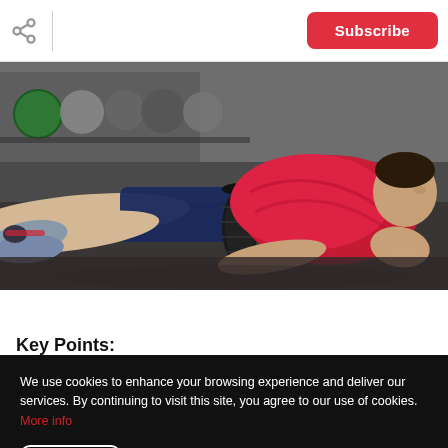Subscribe
[Figure (photo): A person wearing a red shirt and dark shorts doing a plank exercise using a foam roller in a gym setting. Various exercise balls visible in the background.]
Key Points:
We use cookies to enhance your browsing experience and deliver our services. By continuing to visit this site, you agree to our use of cookies. More info
OK